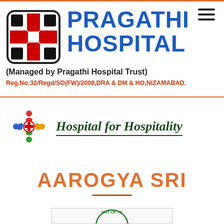[Figure (logo): Pragathi Hospital logo: square with red cross and black quadrants, plus large bold blue text PRAGATHI HOSPITAL]
PRAGATHI HOSPITAL
(Managed by Pragathi Hospital Trust)
Reg.No:32/Regd/SO(FW)/2008,DRA & DM & HO,NIZAMABAD.
[Figure (logo): Hospital for Hospitality logo: colorful people circle icon with red cross, plus italic text Hospital for Hospitality]
AAROGYA SRI
[Figure (logo): Partial circular government seal at bottom showing ENT OF TE text arc]